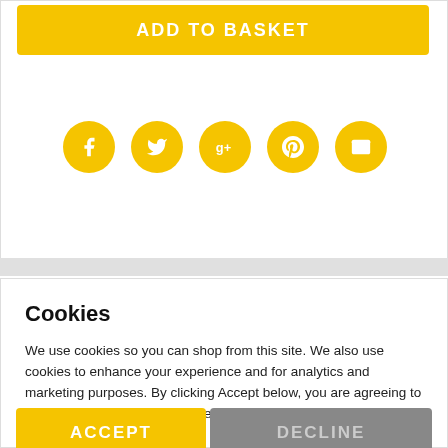[Figure (screenshot): Yellow 'ADD TO BASKET' button at top of product page]
[Figure (infographic): Five yellow circular social share icons: Facebook (f), Twitter (bird), Google+ (g+), Pinterest (p), Email (envelope)]
Cookies
We use cookies so you can shop from this site. We also use cookies to enhance your experience and for analytics and marketing purposes. By clicking Accept below, you are agreeing to these cookies. To find out more about our cookies please click here.
[Figure (screenshot): ACCEPT button (yellow) and DECLINE button (grey) for cookie consent]